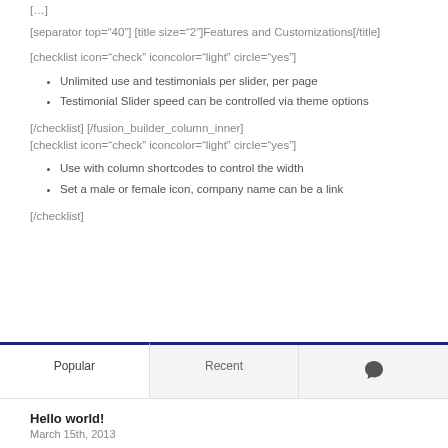[separator top="40"] [title size="2"]Features and Customizations[/title]
[checklist icon="check" iconcolor="light" circle="yes"]
Unlimited use and testimonials per slider, per page
Testimonial Slider speed can be controlled via theme options
[/checklist] [/fusion_builder_column_inner]
[checklist icon="check" iconcolor="light" circle="yes"]
Use with column shortcodes to control the width
Set a male or female icon, company name can be a link
[/checklist]
Popular
Recent
[Figure (other): Speech bubble icon for comments tab]
Hello world!
March 15th, 2013